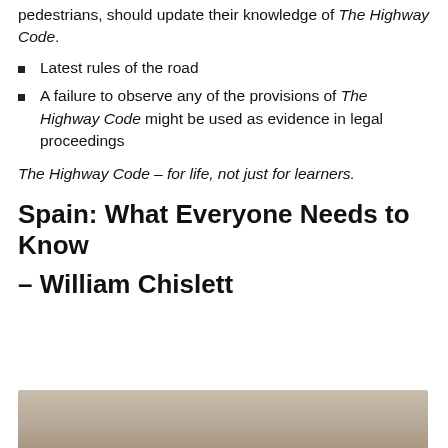pedestrians, should update their knowledge of The Highway Code.
Latest rules of the road
A failure to observe any of the provisions of The Highway Code might be used as evidence in legal proceedings
The Highway Code – for life, not just for learners.
Spain: What Everyone Needs to Know
– William Chislett
[Figure (photo): Partial view of a beige/tan photograph at the bottom of the page]